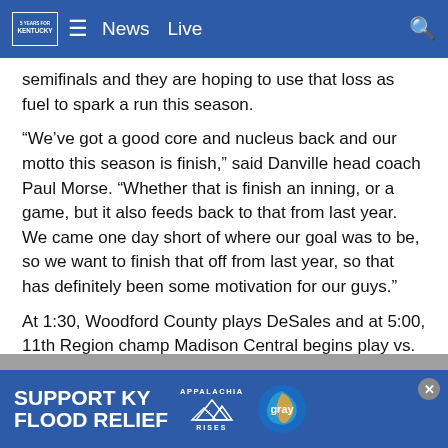News  Live
semifinals and they are hoping to use that loss as fuel to spark a run this season.
“We’ve got a good core and nucleus back and our motto this season is finish,” said Danville head coach Paul Morse. “Whether that is finish an inning, or a game, but it also feeds back to that from last year. We came one day short of where our goal was to be, so we want to finish that off from last year, so that has definitely been some motivation for our guys.”
At 1:30, Woodford County plays DeSales and at 5:00, 11th Region champ Madison Central begins play vs. Russell County.
[Figure (infographic): Advertisement banner reading SUPPORT KY FLOOD RELIEF with Appalachia Rises logo and Gray television network logo]